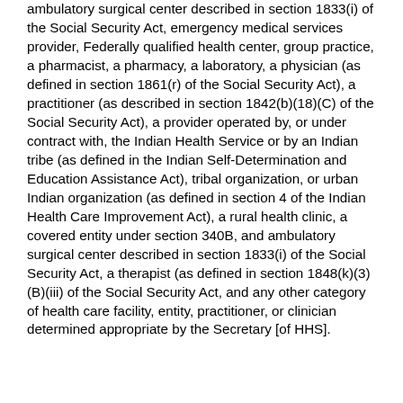ambulatory surgical center described in section 1833(i) of the Social Security Act, emergency medical services provider, Federally qualified health center, group practice, a pharmacist, a pharmacy, a laboratory, a physician (as defined in section 1861(r) of the Social Security Act), a practitioner (as described in section 1842(b)(18)(C) of the Social Security Act), a provider operated by, or under contract with, the Indian Health Service or by an Indian tribe (as defined in the Indian Self-Determination and Education Assistance Act), tribal organization, or urban Indian organization (as defined in section 4 of the Indian Health Care Improvement Act), a rural health clinic, a covered entity under section 340B, and ambulatory surgical center described in section 1833(i) of the Social Security Act, a therapist (as defined in section 1848(k)(3)(B)(iii) of the Social Security Act, and any other category of health care facility, entity, practitioner, or clinician determined appropriate by the Secretary [of HHS].